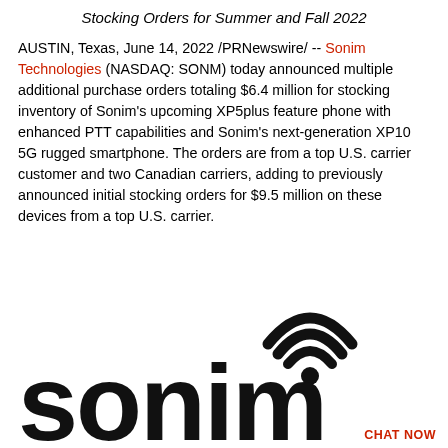Stocking Orders for Summer and Fall 2022
AUSTIN, Texas, June 14, 2022 /PRNewswire/ -- Sonim Technologies (NASDAQ: SONM) today announced multiple additional purchase orders totaling $6.4 million for stocking inventory of Sonim's upcoming XP5plus feature phone with enhanced PTT capabilities and Sonim's next-generation XP10 5G rugged smartphone. The orders are from a top U.S. carrier customer and two Canadian carriers, adding to previously announced initial stocking orders for $9.5 million on these devices from a top U.S. carrier.
[Figure (logo): Sonim Technologies logo — large black 'sonim' wordmark with wifi/signal arc icon above the letter 'i', on white background]